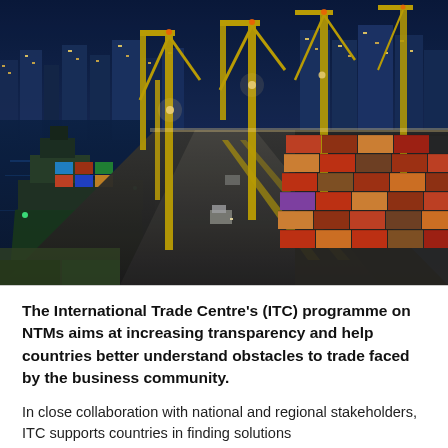[Figure (photo): Aerial night view of a busy container port with large cargo cranes, a ship docked on the left loaded with containers, rows of colorful stacked shipping containers on the right, a wide road/dock lane in the middle with trucks, and a city skyline lit up in the background.]
The International Trade Centre's (ITC) programme on NTMs aims at increasing transparency and help countries better understand obstacles to trade faced by the business community.
In close collaboration with national and regional stakeholders, ITC supports countries in finding solutions